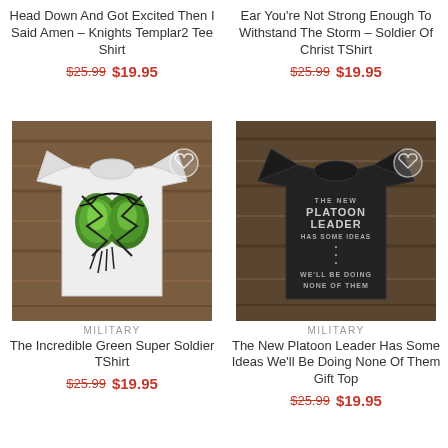Head Down And Got Excited Then I Said Amen – Knights Templar2 Tee Shirt
$25.99  $19.95
Ear You're Not Strong Enough To Withstand The Storm – Soldier Of Christ TShirt
$25.99  $19.95
[Figure (photo): White t-shirt with Hulk green muscles ripping through the fabric graphic, displayed on a wood background]
[Figure (photo): Black t-shirt with text 'THE NEW PLATOON LEADER HAS SOME IDEAS ... WE'LL BE DOING NONE OF THEM', displayed on a wood background]
MILITARY
The Incredible Green Super Soldier TShirt
$25.99  $19.95
MILITARY
The New Platoon Leader Has Some Ideas We'll Be Doing None Of Them Gift Top
$25.99  $19.95